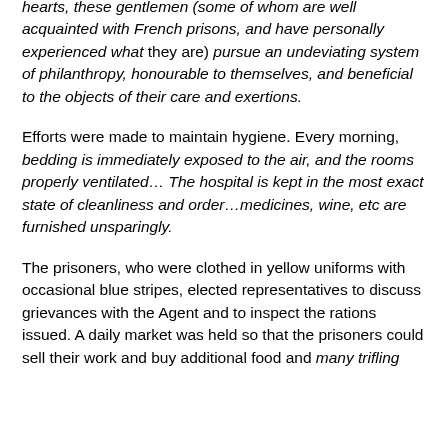hearts, these gentlemen (some of whom are well acquainted with French prisons, and have personally experienced what they are) pursue an undeviating system of philanthropy, honourable to themselves, and beneficial to the objects of their care and exertions.
Efforts were made to maintain hygiene. Every morning, bedding is immediately exposed to the air, and the rooms properly ventilated… The hospital is kept in the most exact state of cleanliness and order…medicines, wine, etc are furnished unsparingly.
The prisoners, who were clothed in yellow uniforms with occasional blue stripes, elected representatives to discuss grievances with the Agent and to inspect the rations issued. A daily market was held so that the prisoners could sell their work and buy additional food and many trifling